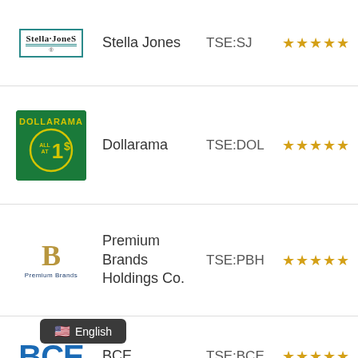[Figure (logo): Stella Jones company logo - teal bordered box with stylized text]
Stella Jones
TSE:SJ
★★★★★
[Figure (logo): Dollarama logo - green background with yellow text and $1 circle]
Dollarama
TSE:DOL
★★★★★
[Figure (logo): Premium Brands Holdings logo - gold B letter with dark blue company name]
Premium Brands Holdings Co.
TSE:PBH
★★★★★
[Figure (logo): BCE logo - bold blue letters]
BCE
TSE:BCE
★★★★★